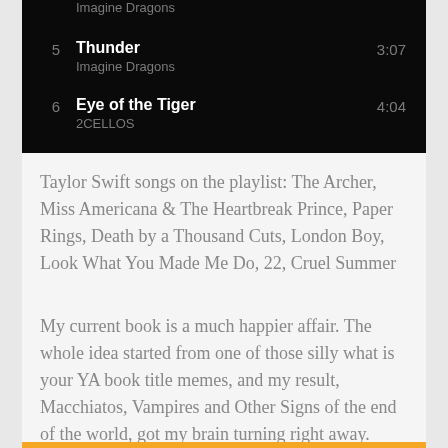| # | Title / Artist | Duration |
| --- | --- | --- |
|  | Imagine Dragons |  |
| 5 | Thunder
Imagine Dragons | 3:07 |
| 6 | Eye of the Tiger
2CELLOS | 4:04 |
Taylor Swift songs on the playlist: The Archer, Miss Americana & The Heartbreak Prince, Paper Rings, Death by a Thousand Cuts, London Boy, Look What You Made Me Do, 22, Cruel Summer
My current book is a much happier affair. The whole idea started from one of those silly what is your YA book title memes, and my result, Macchiatos, Vampires and Other Signs of the end of the world, got my brain turning right away.